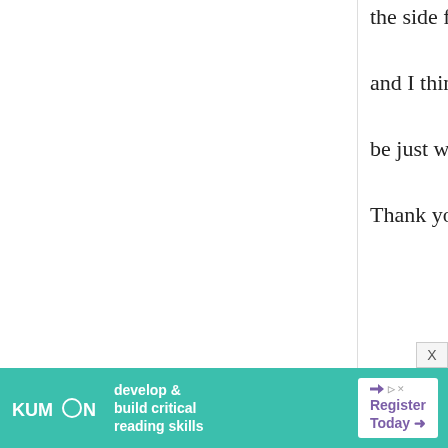the side for a dessert, and I think they would be just wonderful! Thank you very much!
anon.
10 December, 2013 - 16:03
permalink
Impossible to roll
I am just wondering how you managed to roll the dough. The
[Figure (other): Kumon advertisement banner with teal background, Kumon logo, tagline 'develop & build critical reading skills', and 'Register Today' button]